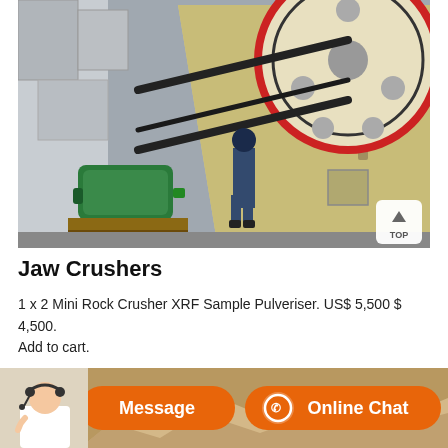[Figure (photo): Large jaw crusher machine with a prominent red and cream-colored flywheel, black belt drives, green electric motor on the left, and a worker in blue coveralls and hard hat standing in front of the machine at an industrial site.]
Jaw Crushers
1 x 2 Mini Rock Crusher XRF Sample Pulveriser. US$ 5,500 $ 4,500. Add to cart.
[Figure (photo): Bottom banner showing a customer service agent on the left with a headset, and an orange Message button and Online Chat button with chat icon.]